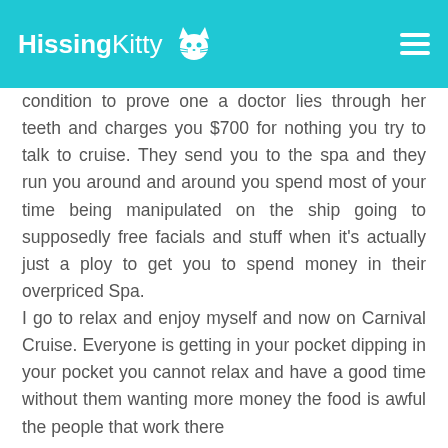HissingKitty
condition to prove one a doctor lies through her teeth and charges you $700 for nothing you try to talk to cruise. They send you to the spa and they run you around and around you spend most of your time being manipulated on the ship going to supposedly free facials and stuff when it's actually just a ploy to get you to spend money in their overpriced Spa.
I go to relax and enjoy myself and now on Carnival Cruise. Everyone is getting in your pocket dipping in your pocket you cannot relax and have a good time without them wanting more money the food is awful the people that work there